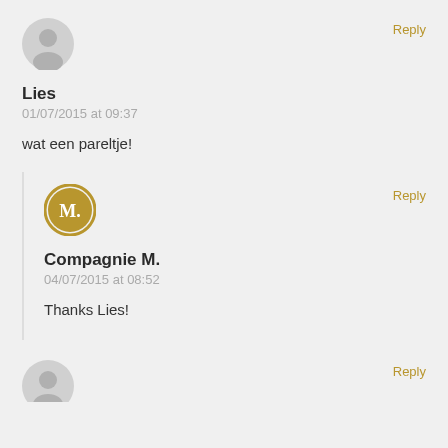[Figure (illustration): Gray default user avatar circle icon]
Reply
Lies
01/07/2015 at 09:37
wat een pareltje!
[Figure (logo): Gold circle with M. letter logo for Compagnie M.]
Reply
Compagnie M.
04/07/2015 at 08:52
Thanks Lies!
[Figure (illustration): Gray default user avatar circle icon (partially visible at bottom)]
Reply